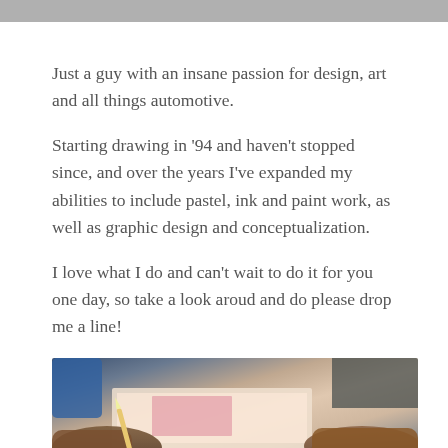Just a guy with an insane passion for design, art and all things automotive.
Starting drawing in ’94 and haven’t stopped since, and over the years I’ve expanded my abilities to include pastel, ink and paint work, as well as graphic design and conceptualization.
I love what I do and can’t wait to do it for you one day, so take a look aroud and do please drop me a line!
[Figure (photo): Close-up photo of hands drawing or sketching on paper, with art supplies visible]